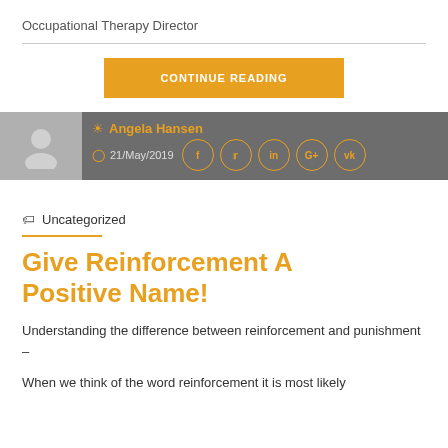Occupational Therapy Director
[Figure (other): CONTINUE READING button in orange]
Angela Hansen  21/May/2019
Uncategorized
Give Reinforcement A Positive Name!
Understanding the difference between reinforcement and punishment –
When we think of the word reinforcement it is most likely